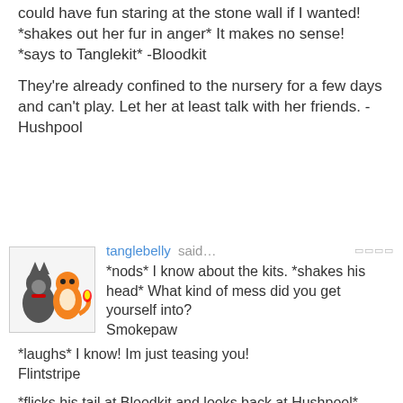could have fun staring at the stone wall if I wanted! *shakes out her fur in anger* It makes no sense! *says to Tanglekit* -Bloodkit
They're already confined to the nursery for a few days and can't play. Let her at least talk with her friends. -Hushpool
tanglebelly said…
*nods* I know about the kits. *shakes his head* What kind of mess did you get yourself into?
Smokepaw

*laughs* I know! Im just teasing you!
Flintstripe

*flicks his tail at Bloodkit and looks back at Hushpool* Whats wrong with keeping her from doing that?
Skyheart

Should i leave?
Tanglekit